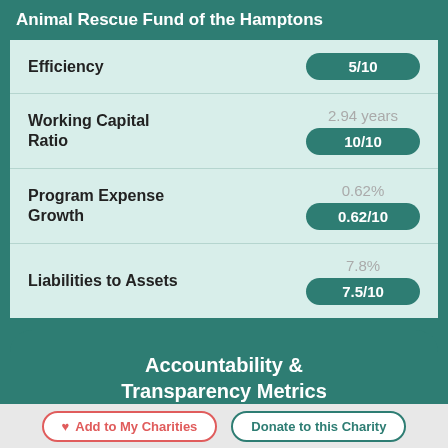Animal Rescue Fund of the Hamptons
| Metric | Raw Value | Score |
| --- | --- | --- |
| Efficiency |  | 5/10 |
| Working Capital Ratio | 2.94 years | 10/10 |
| Program Expense Growth | 0.62% | 0.62/10 |
| Liabilities to Assets | 7.8% | 7.5/10 |
Accountability & Transparency Metrics
Governance
100%